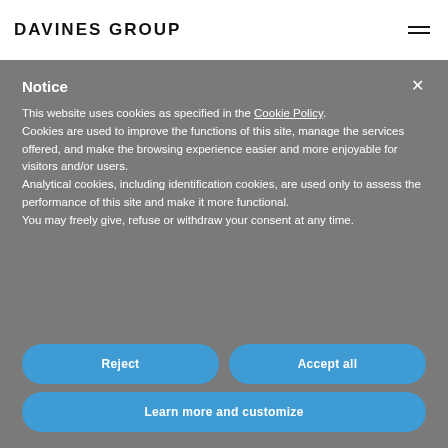DAVINES GROUP
Notice
This website uses cookies as specified in the Cookie Policy. Cookies are used to improve the functions of this site, manage the services offered, and make the browsing experience easier and more enjoyable for visitors and/or users. Analytical cookies, including identification cookies, are used only to assess the performance of this site and make it more functional. You may freely give, refuse or withdraw your consent at any time.
Reject
Accept all
Learn more and customize